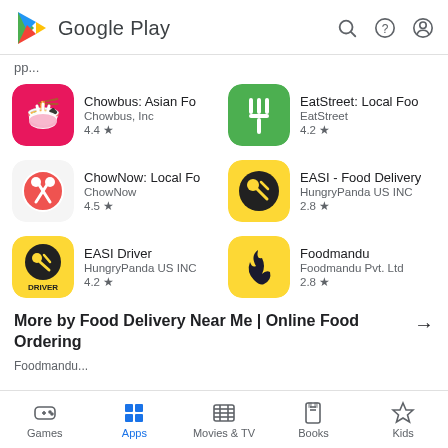Google Play
pp...
Chowbus: Asian Fo — Chowbus, Inc — 4.4 ★
EatStreet: Local Foo — EatStreet — 4.2 ★
ChowNow: Local Fo — ChowNow — 4.5 ★
EASI - Food Delivery — HungryPanda US INC — 2.8 ★
EASI Driver — HungryPanda US INC — 4.2 ★
Foodmandu — Foodmandu Pvt. Ltd — 2.8 ★
More by Food Delivery Near Me | Online Food Ordering →
Games  Apps  Movies & TV  Books  Kids